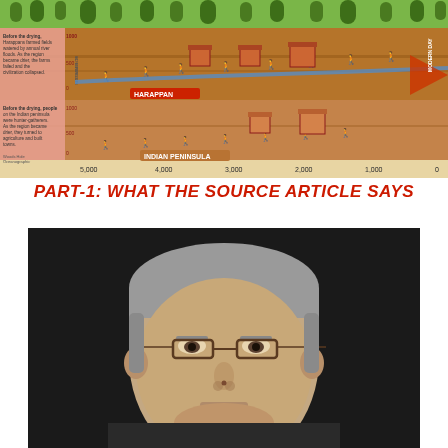[Figure (infographic): Infographic showing the Harappan civilization and Indian Peninsula settlements over time, with cross-section of soil layers, human figures, buildings, and a timeline from 5000 to 0 years. Two panels compare Harappan (top) and Indian Peninsula (bottom) settlement patterns and how drying climate led to collapse or transition to agriculture.]
PART-1: WHAT THE SOURCE ARTICLE SAYS
[Figure (photo): Portrait photograph of a middle-aged man with gray hair and glasses, wearing a dark shirt, against a dark background.]